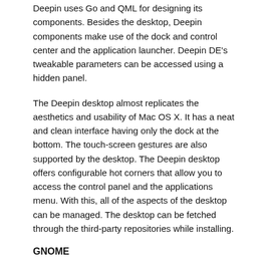Deepin uses Go and QML for designing its components. Besides the desktop, Deepin components make use of the dock and control center and the application launcher. Deepin DE's tweakable parameters can be accessed using a hidden panel.
The Deepin desktop almost replicates the aesthetics and usability of Mac OS X. It has a neat and clean interface having only the dock at the bottom. The touch-screen gestures are also supported by the desktop. The Deepin desktop offers configurable hot corners that allow you to access the control panel and the applications menu. With this, all of the aspects of the desktop can be managed. The desktop can be fetched through the third-party repositories while installing.
GNOME
GNOME is a very popular Linux desktop environment. Many Linux distros use GNOME. GNOME is simple to use and can be customized. The modern and touch-feature-